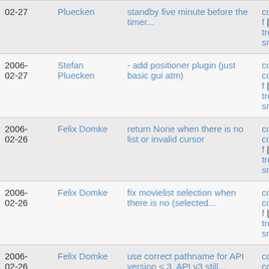| Date | Author | Commit message | Actions |
| --- | --- | --- | --- |
| 02-27 | Pluecken | standby five minute before the timer... | commitdiff | tree | snapshot |
| 2006-02-27 | Stefan Pluecken | - add positioner plugin (just basic gui atm) | commit | commitdiff | tree | snapshot |
| 2006-02-26 | Felix Domke | return None when there is no list or invalid cursor | commit | commitdiff | tree | snapshot |
| 2006-02-26 | Felix Domke | fix movielist selection when there is no (selected... | commit | commitdiff | tree | snapshot |
| 2006-02-26 | Felix Domke | use correct pathname for API version < 3. API v3 still... | commit | commitdiff | tree | |